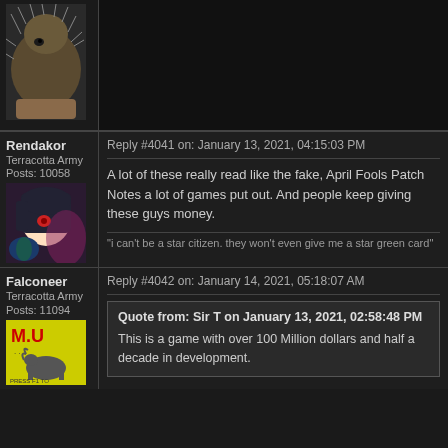[Figure (photo): Top of page showing partial forum post with hedgehog avatar photo and black content area]
Rendakor
Terracotta Army
Posts: 10058
Reply #4041 on: January 13, 2021, 04:15:03 PM
A lot of these really read like the fake, April Fools Patch Notes a lot of games put out. And people keep giving these guys money.
"i can't be a star citizen. they won't even give me a star green card"
Falconeer
Terracotta Army
Posts: 11094
Reply #4042 on: January 14, 2021, 05:18:07 AM
Quote from: Sir T on January 13, 2021, 02:58:48 PM
This is a game with over 100 Million dollars and half a decade in development.